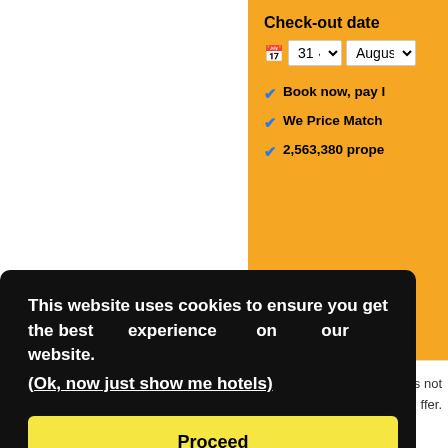Check-out date
31 August '
Book now, pay l
We Price Match
2,563,380 prope
s not
offer.
This website uses cookies to ensure you get the best experience on our website.
(Ok, now just show me hotels)
Proceed